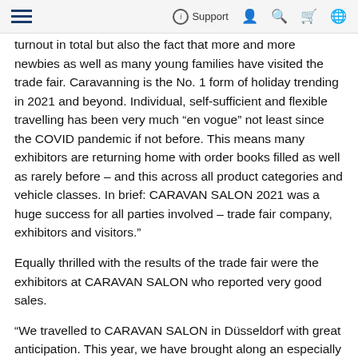Support
turnout in total but also the fact that more and more newbies as well as many young families have visited the trade fair. Caravanning is the No. 1 form of holiday trending in 2021 and beyond. Individual, self-sufficient and flexible travelling has been very much “en vogue” not least since the COVID pandemic if not before. This means many exhibitors are returning home with order books filled as well as rarely before – and this across all product categories and vehicle classes. In brief: CARAVAN SALON 2021 was a huge success for all parties involved – trade fair company, exhibitors and visitors.”
Equally thrilled with the results of the trade fair were the exhibitors at CARAVAN SALON who reported very good sales.
“We travelled to CARAVAN SALON in Düsseldorf with great anticipation. This year, we have brought along an especially large number of exciting innovations meetin with an